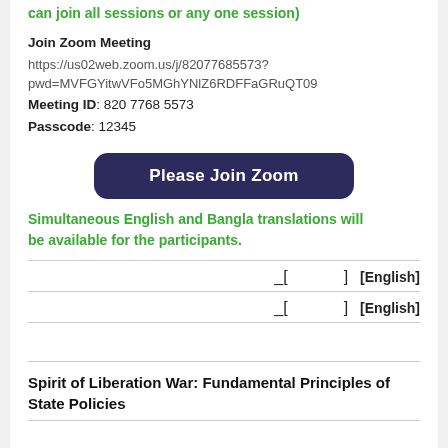can join all sessions or any one session)
Join Zoom Meeting
https://us02web.zoom.us/j/82077685573?pwd=MVFGYitwVFo5MGhYNlZ6RDFFaGRuQT09
Meeting ID: 820 7768 5573
Passcode: 12345
Please Join Zoom
Simultaneous English and Bangla translations will be available for the participants.
| _[ ] [English] |
| _[ ] [English] |
Spirit of Liberation War: Fundamental Principles of State Policies